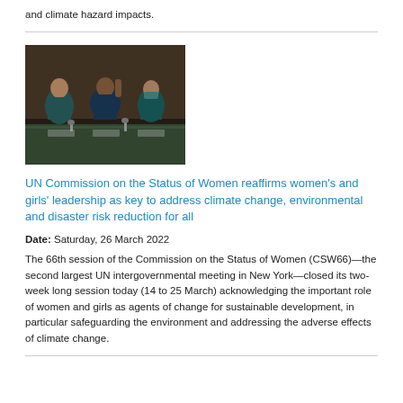and climate hazard impacts.
[Figure (photo): Three people seated at a panel table in a large UN meeting room, gesturing during the Commission on the Status of Women session.]
UN Commission on the Status of Women reaffirms women's and girls' leadership as key to address climate change, environmental and disaster risk reduction for all
Date: Saturday, 26 March 2022
The 66th session of the Commission on the Status of Women (CSW66)—the second largest UN intergovernmental meeting in New York—closed its two-week long session today (14 to 25 March) acknowledging the important role of women and girls as agents of change for sustainable development, in particular safeguarding the environment and addressing the adverse effects of climate change.